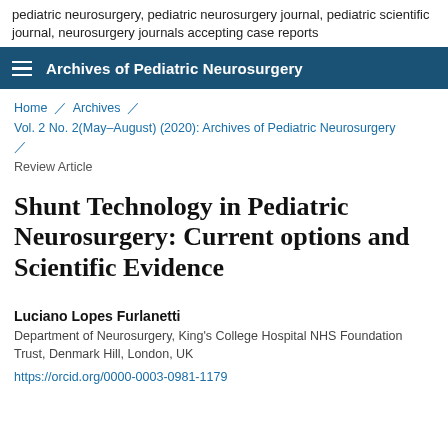pediatric neurosurgery, pediatric neurosurgery journal, pediatric scientific journal, neurosurgery journals accepting case reports
Archives of Pediatric Neurosurgery
Home / Archives / Vol. 2 No. 2(May-August) (2020): Archives of Pediatric Neurosurgery / Review Article
Shunt Technology in Pediatric Neurosurgery: Current options and Scientific Evidence
Luciano Lopes Furlanetti
Department of Neurosurgery, King's College Hospital NHS Foundation Trust, Denmark Hill, London, UK
https://orcid.org/0000-0003-0981-1179